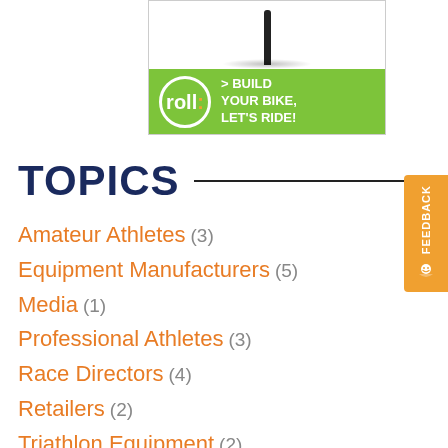[Figure (illustration): Advertisement banner with white top section showing a dark stick/post with shadow, and green bottom section with 'roll:' logo circle and text '> BUILD YOUR BIKE, LET'S RIDE!']
TOPICS
Amateur Athletes (3)
Equipment Manufacturers (5)
Media (1)
Professional Athletes (3)
Race Directors (4)
Retailers (2)
Triathlon Equipment (2)